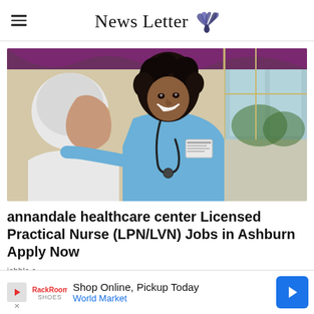News Letter
[Figure (photo): A smiling Black female nurse in blue scrubs with stethoscope talking to an elderly white-haired male patient in a medical facility]
annandale healthcare center Licensed Practical Nurse (LPN/LVN) Jobs in Ashburn Apply Now
jobble.c…
[Figure (infographic): Advertisement banner: Shop Online, Pickup Today – World Market, with play button icon and blue navigation arrow]